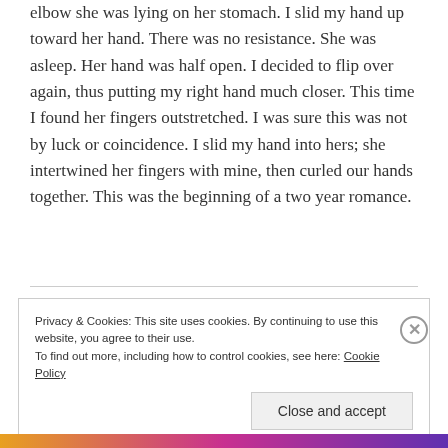elbow she was lying on her stomach.  I slid my hand up toward her hand.  There was no resistance. She was asleep. Her hand was half open.  I decided to flip over again, thus putting my right hand much closer.  This time I found her fingers outstretched.  I was sure this was not by luck or coincidence.  I slid my hand into hers; she intertwined her fingers with mine, then curled our hands together.  This was the beginning of a two year romance.
Privacy & Cookies: This site uses cookies. By continuing to use this website, you agree to their use.
To find out more, including how to control cookies, see here: Cookie Policy
Close and accept